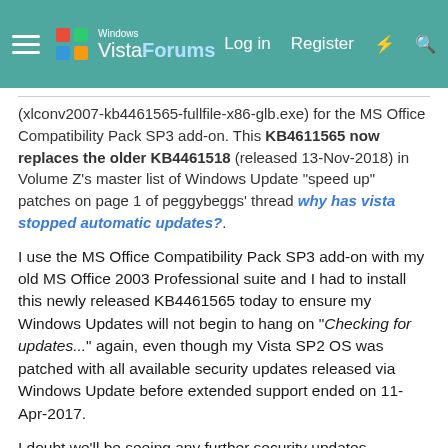Windows Vista Forums — Log in | Register
(xlconv2007-kb4461565-fullfile-x86-glb.exe) for the MS Office Compatibility Pack SP3 add-on. This KB4611565 now replaces the older KB4461518 (released 13-Nov-2018) in Volume Z's master list of Windows Update "speed up" patches on page 1 of peggybeggs' thread why has vista stopped automatic updates?.
I use the MS Office Compatibility Pack SP3 add-on with my old MS Office 2003 Professional suite and I had to install this newly released KB4461565 today to ensure my Windows Updates will not begin to hang on "Checking for updates..." again, even though my Vista SP2 OS was patched with all available security updates released via Windows Update before extended support ended on 11-Apr-2017.
I doubt we'll be seeing any further security updates released for Vista SP2 or MS Office 2007 going forward, but any Vista SP2 user who has MS Office 2010 or the MS Office Compatibility Pack SP3 installed on their computer should